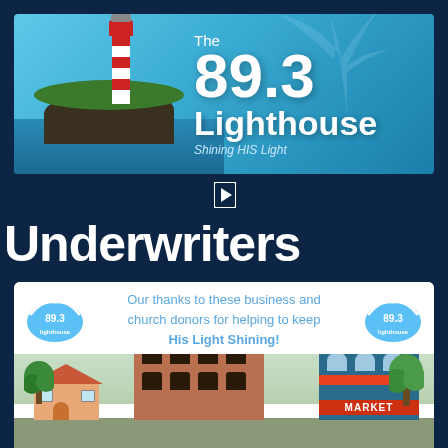[Figure (illustration): The 89.3 Lighthouse radio station banner with lighthouse photo on left and station name/logo on right with text 'The 89.3 Lighthouse — Shining HIS Light']
[Figure (other): Small play button icon]
Underwriters
[Figure (infographic): Underwriters card with 89.3 Lighthouse logos on each side, text 'Our thanks to these business and church donors for helping to keep His Light Shining!' and illustrated town street scene with bakery and market buildings below]